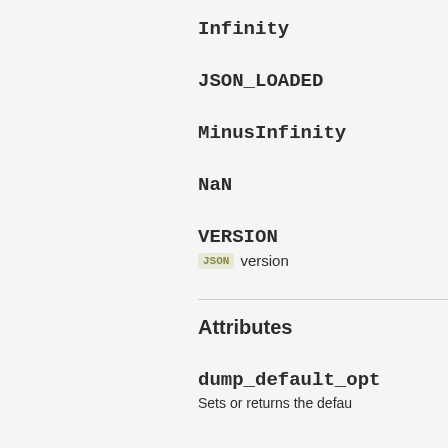Infinity
JSON_LOADED
MinusInfinity
NaN
VERSION
JSON version
Attributes
dump_default_opt
Sets or returns the defau